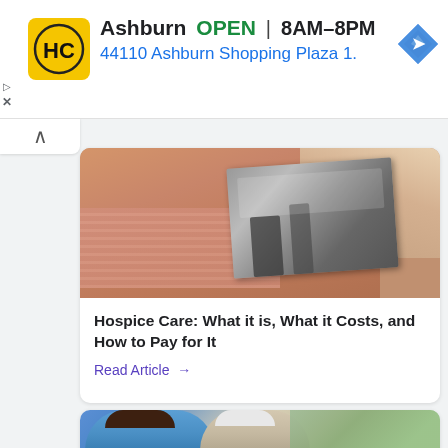[Figure (screenshot): Advertisement banner for HC (Home Care) showing logo, Ashburn location, OPEN status 8AM-8PM, address 44110 Ashburn Shopping Plaza 1., and navigation icon]
[Figure (photo): Two hands holding a black and white photograph]
Hospice Care: What it is, What it Costs, and How to Pay for It
Read Article →
[Figure (photo): A nurse in blue scrubs laughing with an elderly woman with white hair and glasses]